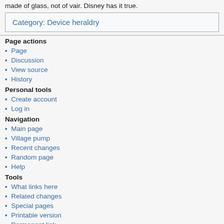made of glass, not of vair. Disney has it true.
Category: Device heraldry
Page actions
Page
Discussion
View source
History
Personal tools
Create account
Log in
Navigation
Main page
Village pump
Recent changes
Random page
Help
Tools
What links here
Related changes
Special pages
Printable version
Permanent link
Page information